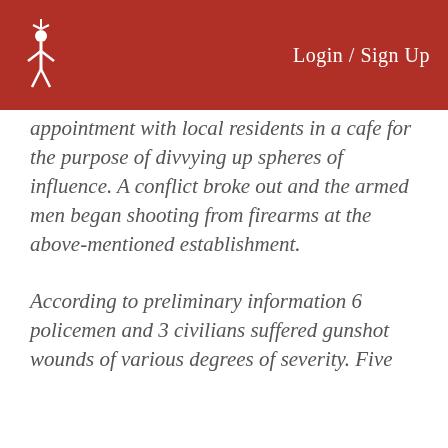Login / Sign Up
appointment with local residents in a cafe for the purpose of divvying up spheres of influence. A conflict broke out and the armed men began shooting from firearms at the above-mentioned establishment.
According to preliminary information 6 policemen and 3 civilians suffered gunshot wounds of various degrees of severity. Five